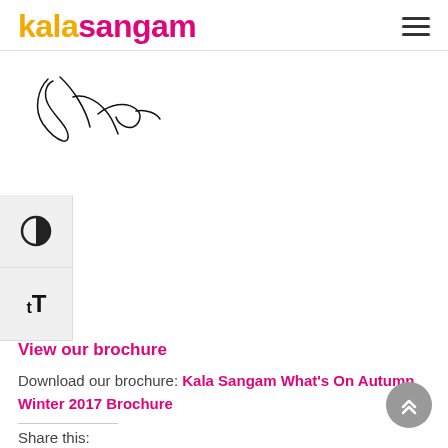kalasangam
[Figure (illustration): A handwritten signature in cursive script]
[Figure (other): Accessibility toolbar with contrast toggle icon and text resize (tT) button]
View our brochure
Download our brochure: Kala Sangam What's On Autumn Winter 2017 Brochure
Share this:
[Figure (other): Social share icons (Facebook and Twitter)]
[Figure (other): Scroll to top button — grey circle with double up-chevron]